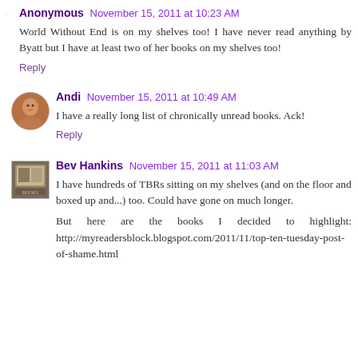Anonymous November 15, 2011 at 10:23 AM
World Without End is on my shelves too! I have never read anything by Byatt but I have at least two of her books on my shelves too!
Reply
Andi November 15, 2011 at 10:49 AM
I have a really long list of chronically unread books. Ack!
Reply
Bev Hankins November 15, 2011 at 11:03 AM
I have hundreds of TBRs sitting on my shelves (and on the floor and boxed up and...) too. Could have gone on much longer.
But here are the books I decided to highlight: http://myreadersblock.blogspot.com/2011/11/top-ten-tuesday-post-of-shame.html